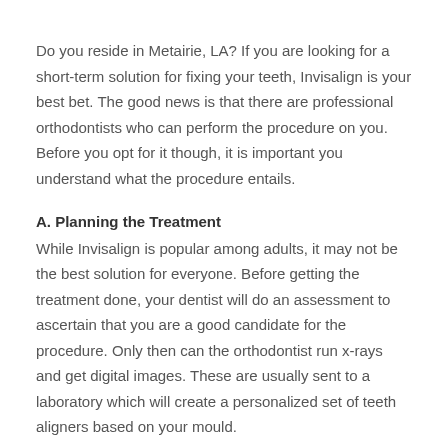Do you reside in Metairie, LA? If you are looking for a short-term solution for fixing your teeth, Invisalign is your best bet. The good news is that there are professional orthodontists who can perform the procedure on you. Before you opt for it though, it is important you understand what the procedure entails.
A. Planning the Treatment
While Invisalign is popular among adults, it may not be the best solution for everyone. Before getting the treatment done, your dentist will do an assessment to ascertain that you are a good candidate for the procedure. Only then can the orthodontist run x-rays and get digital images. These are usually sent to a laboratory which will create a personalized set of teeth aligners based on your mould.
B. Instructions on Using your Invisalign